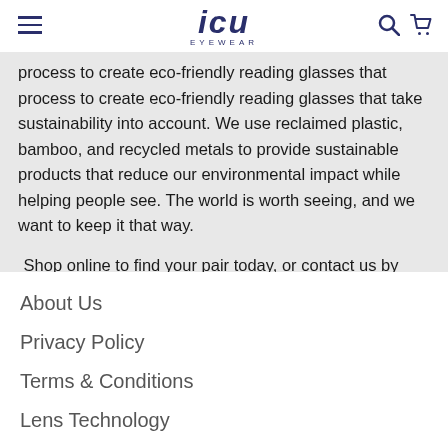icu eyewear
process to create eco-friendly reading glasses that take sustainability into account. We use reclaimed plastic, bamboo, and recycled metals to provide sustainable products that reduce our environmental impact while helping people see. The world is worth seeing, and we want to keep it that way.

Shop online to find your pair today, or contact us by email at customerrelations@icueyewear.com.
About Us
Privacy Policy
Terms & Conditions
Lens Technology
Careers at ICU
Do not sell my personal information